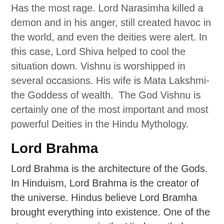Has the most rage. Lord Narasimha killed a demon and in his anger, still created havoc in the world, and even the deities were alert. In this case, Lord Shiva helped to cool the situation down. Vishnu is worshipped in several occasions. His wife is Mata Lakshmi- the Goddess of wealth.  The God Vishnu is certainly one of the most important and most powerful Deities in the Hindu Mythology.
Lord Brahma
Lord Brahma is the architecture of the Gods. In Hinduism, Lord Brahma is the creator of the universe. Hindus believe Lord Bramha brought everything into existence. One of the strongest weapons in the Hindu mythology, the Bramhastra is owned by Lord Bramha. He is the spouse of the Goddess of knowledge, Mata Saraswati.  But, he is not